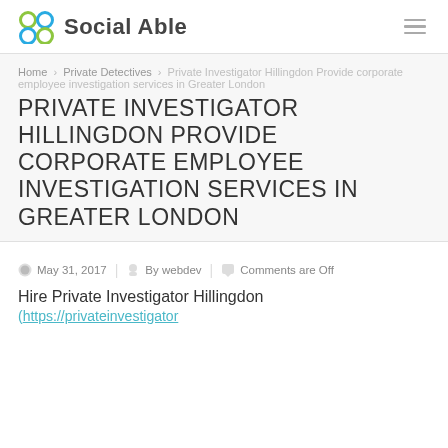Social Able
Home › Private Detectives › Private Investigator Hillingdon Provide corporate employee investigation services in Greater London
PRIVATE INVESTIGATOR HILLINGDON PROVIDE CORPORATE EMPLOYEE INVESTIGATION SERVICES IN GREATER LONDON
May 31, 2017 | By webdev | Comments are Off
Hire Private Investigator Hillingdon
(https://privateinvestigator